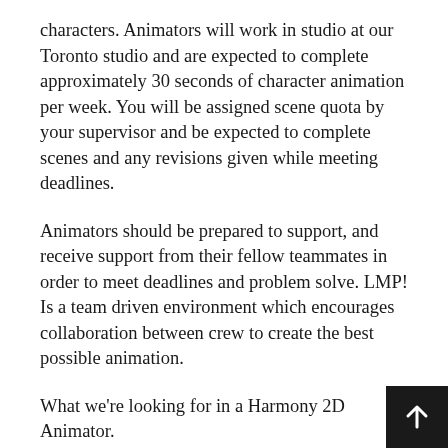characters. Animators will work in studio at our Toronto studio and are expected to complete approximately 30 seconds of character animation per week. You will be assigned scene quota by your supervisor and be expected to complete scenes and any revisions given while meeting deadlines.
Animators should be prepared to support, and receive support from their fellow teammates in order to meet deadlines and problem solve. LMP! Is a team driven environment which encourages collaboration between crew to create the best possible animation.
What we're looking for in a Harmony 2D Animator.
We are interested in working with all skill levels of animators. Benefiting from the experience of mid-level to senior animators and fostering the talent of fresh faces to the animation scene. However the followin